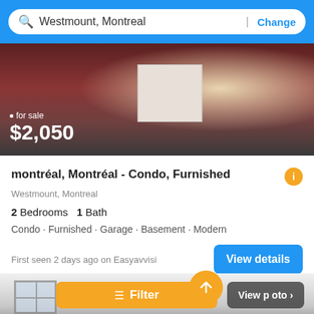Westmount, Montreal | Change
[Figure (photo): Interior photo of a living room with red sofas and a white/cream square ottoman, dark patterned rug. Price overlay shows 'for sale $2,050']
montréal, Montréal - Condo, Furnished
Westmount, Montreal
2 Bedrooms  1 Bath
Condo · Furnished · Garage · Basement · Modern
First seen 2 days ago on Easyavvisi
[Figure (photo): Interior photo of a room with white ceiling and window visible on left side. Yellow Filter button and View photo button overlaid at bottom.]